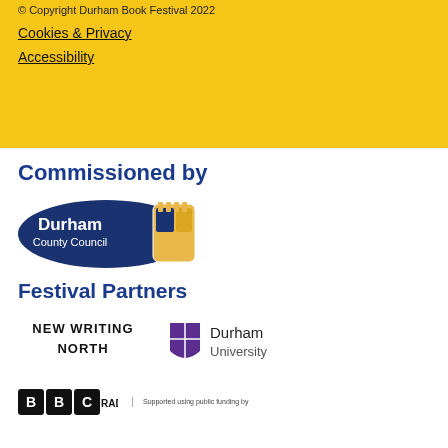© Copyright Durham Book Festival 2022
Cookies & Privacy
Accessibility
Commissioned by
[Figure (logo): Durham County Council oval logo in dark navy blue with crest and white text]
Festival Partners
[Figure (logo): New Writing North logo in black text]
[Figure (logo): Durham University logo with purple shield icon]
[Figure (logo): BBC Radio logo and Arts Council England supported using public funding logo]